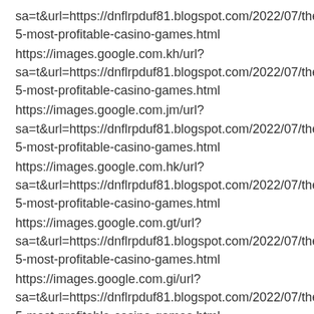sa=t&url=https://dnflrpduf81.blogspot.com/2022/07/these-5-most-profitable-casino-games.html
https://images.google.com.kh/url?sa=t&url=https://dnflrpduf81.blogspot.com/2022/07/these-5-most-profitable-casino-games.html
https://images.google.com.jm/url?sa=t&url=https://dnflrpduf81.blogspot.com/2022/07/these-5-most-profitable-casino-games.html
https://images.google.com.hk/url?sa=t&url=https://dnflrpduf81.blogspot.com/2022/07/these-5-most-profitable-casino-games.html
https://images.google.com.gt/url?sa=t&url=https://dnflrpduf81.blogspot.com/2022/07/these-5-most-profitable-casino-games.html
https://images.google.com.gi/url?sa=t&url=https://dnflrpduf81.blogspot.com/2022/07/these-5-most-profitable-casino-games.html 5-most-profitable-casino-games.html